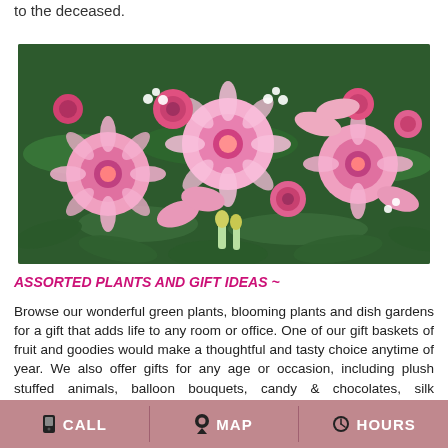to the deceased.
[Figure (photo): A large floral arrangement with pink and red roses, gerbera daisies, lilies, and green foliage, used as a funeral casket spray.]
ASSORTED PLANTS AND GIFT IDEAS ~
Browse our wonderful green plants, blooming plants and dish gardens for a gift that adds life to any room or office. One of our gift baskets of fruit and goodies would make a thoughtful and tasty choice anytime of year. We also offer gifts for any age or occasion, including plush stuffed animals, balloon bouquets, candy & chocolates, silk arrangements, baby items, home décor, scented candles and more!
CALL   MAP   HOURS